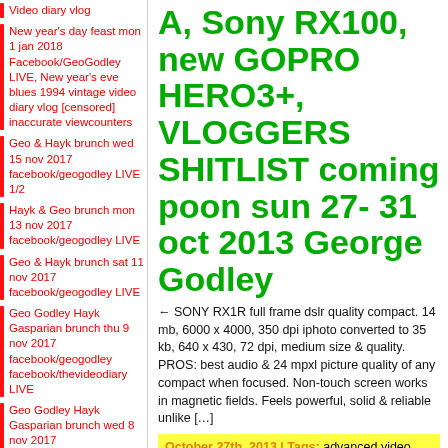Video diary vlog
New year's day feast mon 1 jan 2018 Facebook/GeoGodley LIVE, New year's eve blues 1994 vintage video diary vlog [censored] inaccurate viewcounters
Geo & Hayk brunch wed 15 nov 2017 facebook/geogodley LIVE 1/2
Hayk & Geo brunch mon 13 nov 2017 facebook/geogodley LIVE
Geo & Hayk brunch sat 11 nov 2017 facebook/geogodley LIVE
Geo Godley Hayk Gasparian brunch thu 9 nov 2017 facebook/geogodley facebook/thevideodiary LIVE
Geo Godley Hayk Gasparian brunch wed 8 nov 2017
A, Sony RX100, new GOPRO HERO3+, VLOGGERS SHITLIST coming poon sun 27- 31 oct 2013 George Godley
← SONY RX1R full frame dslr quality compact. 14 mb, 6000 x 4000, 350 dpi iphoto converted to 35 kb, 640 x 430, 72 dpi, medium size & quality. PROS: best audio & 24 mpxl picture quality of any compact when focused. Non-touch screen works in magnetic fields. Feels powerful, solid & reliable unlike […]
October 27th, 2013 | Tags: advanced video blogging, advanced vlogging, canon xa20,